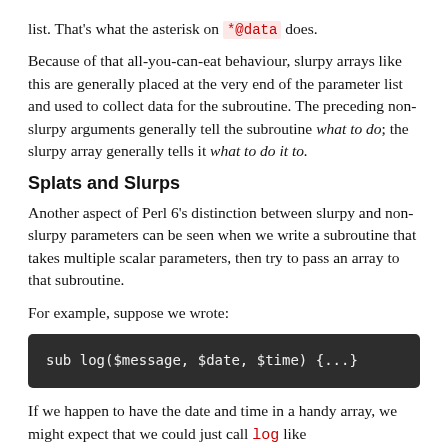list. That's what the asterisk on *@data does.
Because of that all-you-can-eat behaviour, slurpy arrays like this are generally placed at the very end of the parameter list and used to collect data for the subroutine. The preceding non-slurpy arguments generally tell the subroutine what to do; the slurpy array generally tells it what to do it to.
Splats and Slurps
Another aspect of Perl 6's distinction between slurpy and non-slurpy parameters can be seen when we write a subroutine that takes multiple scalar parameters, then try to pass an array to that subroutine.
For example, suppose we wrote:
[Figure (screenshot): Code block with dark background showing: sub log($message, $date, $time) {...}]
If we happen to have the date and time in a handy array, we might expect that we could just call log like